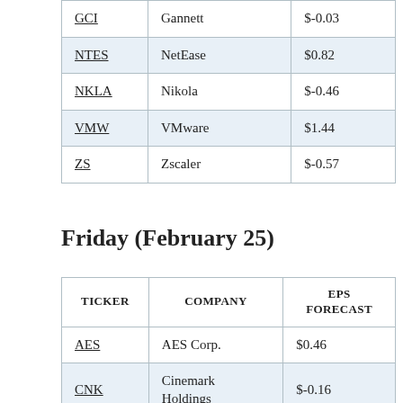| GCI | Gannett | $-0.03 |
| NTES | NetEase | $0.82 |
| NKLA | Nikola | $-0.46 |
| VMW | VMware | $1.44 |
| ZS | Zscaler | $-0.57 |
Friday (February 25)
| TICKER | COMPANY | EPS FORECAST |
| --- | --- | --- |
| AES | AES Corp. | $0.46 |
| CNK | Cinemark Holdings | $-0.16 |